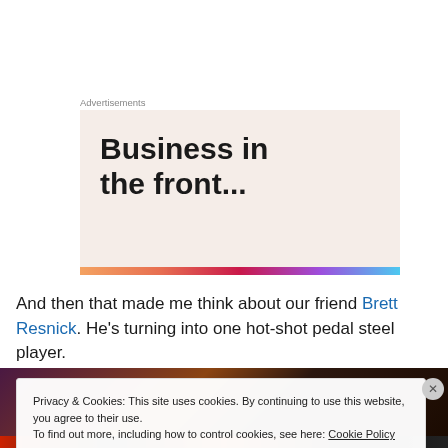[Figure (screenshot): Advertisement banner with text 'Business in the front...' on a light pinkish background with a colored gradient bar at the bottom]
And then that made me think about our friend Brett Resnick. He's turning into one hot-shot pedal steel player.
[Figure (photo): Partial photo visible at bottom of page, dark/multicolored image]
Privacy & Cookies: This site uses cookies. By continuing to use this website, you agree to their use.
To find out more, including how to control cookies, see here: Cookie Policy